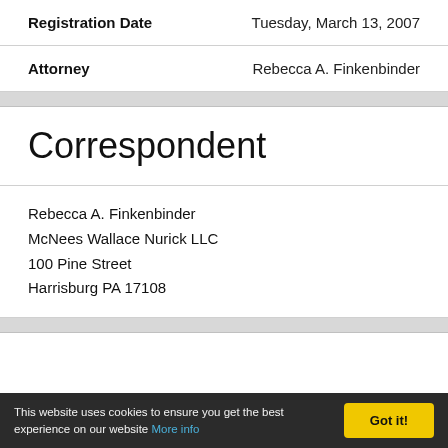| Field | Value |
| --- | --- |
| Registration Date | Tuesday, March 13, 2007 |
| Attorney | Rebecca A. Finkenbinder |
Correspondent
Rebecca A. Finkenbinder
McNees Wallace Nurick LLC
100 Pine Street
Harrisburg PA 17108
This website uses cookies to ensure you get the best experience on our website More info